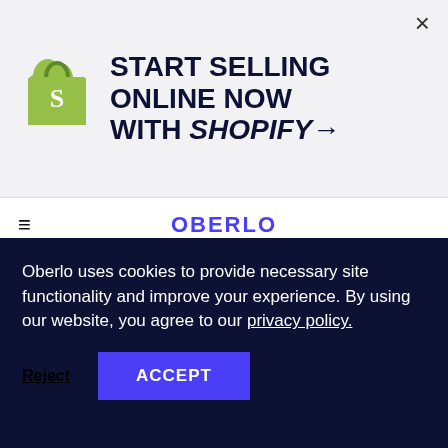[Figure (logo): Shopify bag logo with green color]
START SELLING ONLINE NOW WITH SHOPIFY→
×
≡
OBERLO
10 BENEFITS OF READING BOOKS: WHY YOU SHOULD READ EVERY
Oberlo uses cookies to provide necessary site functionality and improve your experience. By using our website, you agree to our privacy policy.
Reject
ACCEPT